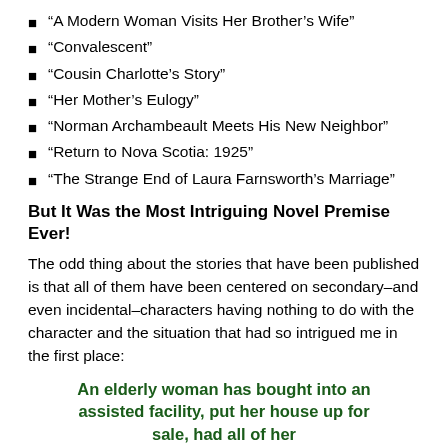“A Modern Woman Visits Her Brother’s Wife”
“Convalescent”
“Cousin Charlotte’s Story”
“Her Mother’s Eulogy”
“Norman Archambeault Meets His New Neighbor”
“Return to Nova Scotia: 1925”
“The Strange End of Laura Farnsworth’s Marriage”
But It Was the Most Intriguing Novel Premise Ever!
The odd thing about the stories that have been published is that all of them have been centered on secondary–and even incidental–characters having nothing to do with the character and the situation that had so intrigued me in the first place:
An elderly woman has bought into an assisted facility, put her house up for sale, had all of her